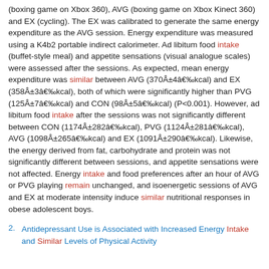(boxing game on Xbox 360), AVG (boxing game on Xbox Kinect 360) and EX (cycling). The EX was calibrated to generate the same energy expenditure as the AVG session. Energy expenditure was measured using a K4b2 portable indirect calorimeter. Ad libitum food intake (buffet-style meal) and appetite sensations (visual analogue scales) were assessed after the sessions. As expected, mean energy expenditure was similar between AVG (370±4‰kcal) and EX (358±3‰kcal), both of which were significantly higher than PVG (125±7‰kcal) and CON (98±5‰kcal) (P<0.001). However, ad libitum food intake after the sessions was not significantly different between CON (1174±282‰kcal), PVG (1124±281‰kcal), AVG (1098±265‰kcal) and EX (1091±290‰kcal). Likewise, the energy derived from fat, carbohydrate and protein was not significantly different between sessions, and appetite sensations were not affected. Energy intake and food preferences after an hour of AVG or PVG playing remain unchanged, and isoenergetic sessions of AVG and EX at moderate intensity induce similar nutritional responses in obese adolescent boys.
2. Antidepressant Use is Associated with Increased Energy Intake and Similar Levels of Physical Activity